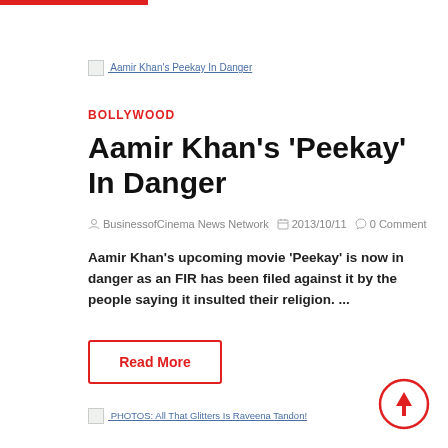Aamir Khan's Peekay In Danger
BOLLYWOOD
Aamir Khan's 'Peekay' In Danger
BusinessofCinema News Network  2013/10/11  0 Comment
Aamir Khan's upcoming movie 'Peekay' is now in danger as an FIR has been filed against it by the people saying it insulted their religion. ...
Read More
PHOTOS: All That Glitters Is Raveena Tandon!